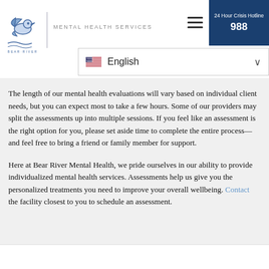Bear River Mental Health Services | 24 Hour Crisis Hotline 988 | English
The length of our mental health evaluations will vary based on individual client needs, but you can expect most to take a few hours. Some of our providers may split the assessments up into multiple sessions. If you feel like an assessment is the right option for you, please set aside time to complete the entire process—and feel free to bring a friend or family member for support.
Here at Bear River Mental Health, we pride ourselves in our ability to provide individualized mental health services. Assessments help us give you the personalized treatments you need to improve your overall wellbeing. Contact the facility closest to you to schedule an assessment.